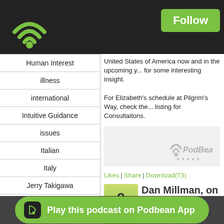[Figure (logo): Podbean wifi/podcast logo in green on dark header bar]
Follow
Human Interest
illness
international
Intuitive Guidance
issues
Italian
Italy
Jerry Takigawa
Joe
Jon Young
kale
kayaking
keystone xl
kids
landscape
United States of America now and in the upcoming y... for some interesting insight.

For Elizabeth's schedule at Pilgrim's Way, check the... listing for Consultaitons.
[Figure (logo): PodBean logo watermark in light gray]
Likes | Share | Download(73)
9 Nov 2013 — Dan Millman, on Sim...
One of my all time favorite authors, D... Life Radio broadcasting on 540AM c... Dan shares stories of personal expe... Creative Compass; writing your way from inspiration... Sierra Prasada wrote together.
Play this podcast on Podbean App